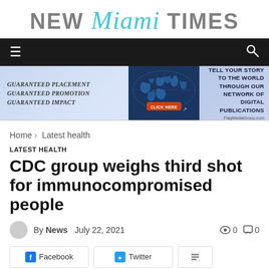NEW Miami TIMES
[Figure (other): Navigation bar with hamburger menu icon and search icon on dark background]
[Figure (other): Advertisement banner: Guaranteed Placement Guaranteed Promotion Guaranteed Impact - Tell Your Story To The World Through Our Network Of Digital Publications - FlagMediaGroup.com]
Home › Latest health
LATEST HEALTH
CDC group weighs third shot for immunocompromised people
By News   July 22, 2021   0   0
[Figure (other): Social sharing buttons: Facebook, Twitter, and another platform]